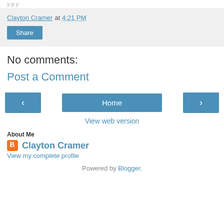Clayton Cramer at 4:21 PM
Share
No comments:
Post a Comment
‹  Home  › View web version
About Me
Clayton Cramer
View my complete profile
Powered by Blogger.